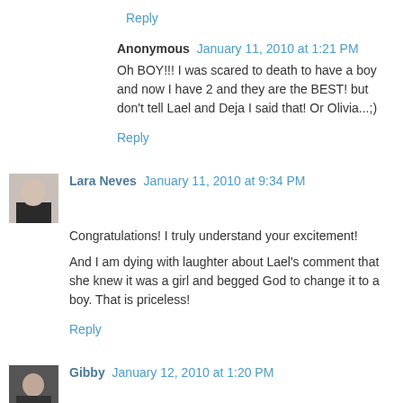Reply
Anonymous  January 11, 2010 at 1:21 PM
Oh BOY!!! I was scared to death to have a boy and now I have 2 and they are the BEST! but don't tell Lael and Deja I said that! Or Olivia...;)
Reply
Lara Neves  January 11, 2010 at 9:34 PM
Congratulations! I truly understand your excitement!
And I am dying with laughter about Lael's comment that she knew it was a girl and begged God to change it to a boy. That is priceless!
Reply
Gibby  January 12, 2010 at 1:20 PM